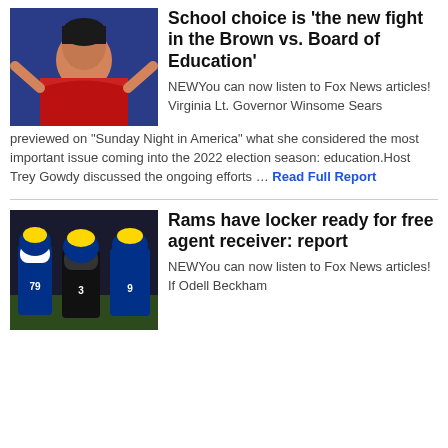[Figure (photo): Woman in red outfit with arms raised against blue background]
School choice is 'the new fight in the Brown vs. Board of Education'
NEWYou can now listen to Fox News articles! Virginia Lt. Governor Winsome Sears previewed on "Sunday Night in America" what she considered the most important issue coming into the 2022 election season: education.Host Trey Gowdy discussed the ongoing efforts … Read Full Report
[Figure (photo): Los Angeles Rams football players on the field in blue and gold uniforms]
Rams have locker ready for free agent receiver: report
NEWYou can now listen to Fox News articles! If Odell Beckham